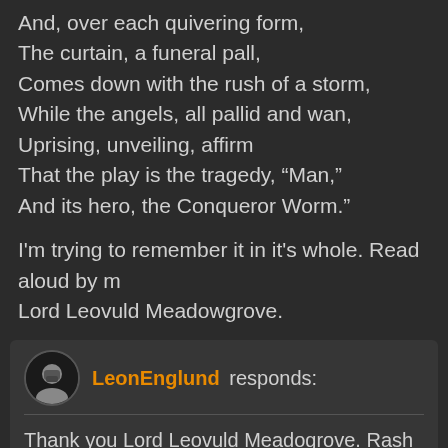And, over each quivering form,
The curtain, a funeral pall,
Comes down with the rush of a storm,
While the angels, all pallid and wan,
Uprising, unveiling, affirm
That the play is the tragedy, "Man,"
And its hero, the Conqueror Worm."
I'm trying to remember it in it's whole. Read aloud by m Lord Leovuld Meadowgrove.
LeonEnglund responds:
Thank you Lord Leovuld Meadogrove. Rash and hars words can break minds and soul alike. We artists are fragile beings indeed.